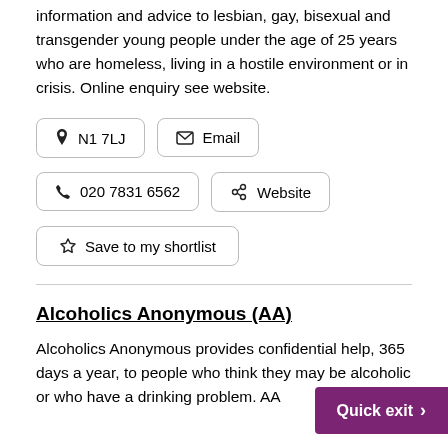information and advice to lesbian, gay, bisexual and transgender young people under the age of 25 years who are homeless, living in a hostile environment or in crisis. Online enquiry see website.
N1 7LJ
Email
020 7831 6562
Website
Save to my shortlist
Alcoholics Anonymous (AA)
Alcoholics Anonymous provides confidential help, 365 days a year, to people who think they may be alcoholic or who have a drinking problem. AA